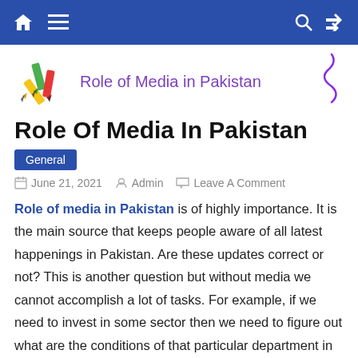Navigation bar with home, menu, search, and shuffle icons
[Figure (logo): Site logo showing pencils/crayons illustration]
Role of Media in Pakistan
Role Of Media In Pakistan
General
June 21, 2021   Admin   Leave A Comment
Role of media in Pakistan is of highly importance. It is the main source that keeps people aware of all latest happenings in Pakistan. Are these updates correct or not? This is another question but without media we cannot accomplish a lot of tasks. For example, if we need to invest in some sector then we need to figure out what are the conditions of that particular department in current market? Media tells us about it. Unbiased media is a key indicator in any society.